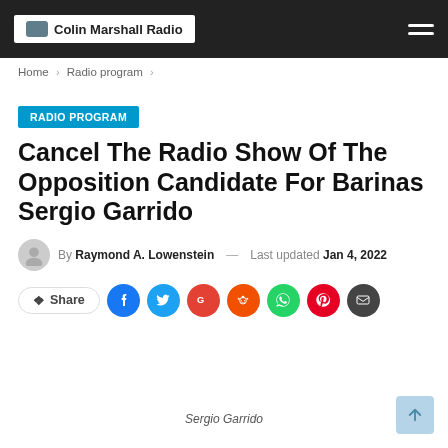Colin Marshall Radio
Home > Radio program >
RADIO PROGRAM
Cancel The Radio Show Of The Opposition Candidate For Barinas Sergio Garrido
By Raymond A. Lowenstein — Last updated Jan 4, 2022
[Figure (infographic): Social share buttons: Share, Facebook, Twitter, Google, Reddit, WhatsApp, Pinterest, Email]
Sergio Garrido